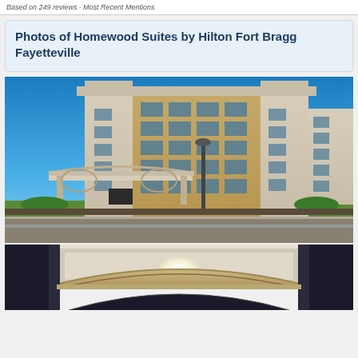Based on 249 reviews · Most Recent Mentions
Photos of Homewood Suites by Hilton Fort Bragg Fayetteville
[Figure (photo): Exterior view of Homewood Suites by Hilton Fort Bragg Fayetteville hotel building against a clear blue sky. Multi-story tan/beige brick building with teal-colored signage and a covered entrance canopy.]
[Figure (photo): Close-up view of the hotel entrance canopy/porte-cochère with arched architectural details, viewed from below at night or dusk showing interior lighting.]